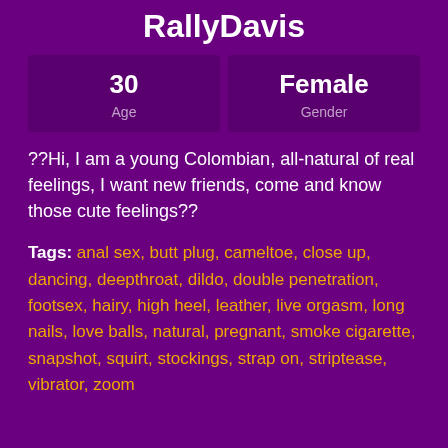RallyDavis
| Age | Gender |
| --- | --- |
| 30 | Female |
??Hi, I am a young Colombian, all-natural of real feelings, I want new friends, come and know those cute feelings??
Tags:  anal sex, butt plug, cameltoe, close up, dancing, deepthroat, dildo, double penetration, footsex, hairy, high heel, leather, live orgasm, long nails, love balls, natural, pregnant, smoke cigarette, snapshot, squirt, stockings, strap on, striptease, vibrator, zoom